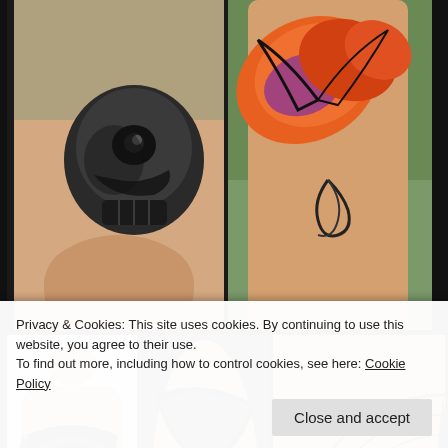[Figure (photo): Grid of tattoo photos: top-left shows a skull tattoo in black and grey on a shoulder; top-right shows a colorful butterfly/flower tattoo in orange and purple on a torso; bottom row shows three photos of tribal/Polynesian sleeve tattoos on male figures, and a mandala/compass tattoo on skin.]
Privacy & Cookies: This site uses cookies. By continuing to use this website, you agree to their use.
To find out more, including how to control cookies, see here: Cookie Policy
Close and accept